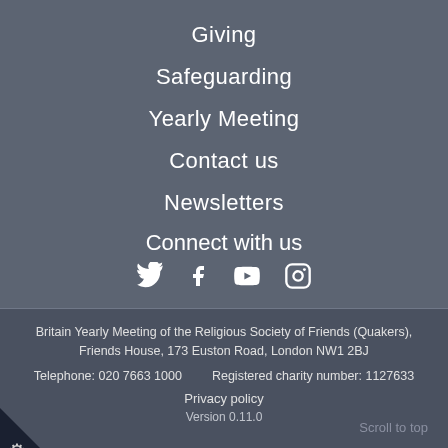Giving
Safeguarding
Yearly Meeting
Contact us
Newsletters
Connect with us
[Figure (infographic): Social media icons: Twitter, Facebook, YouTube, Instagram]
Britain Yearly Meeting of the Religious Society of Friends (Quakers), Friends House, 173 Euston Road, London NW1 2BJ
Telephone: 020 7663 1000    Registered charity number: 1127633
Privacy policy
Scroll to top
Version 0.11.0